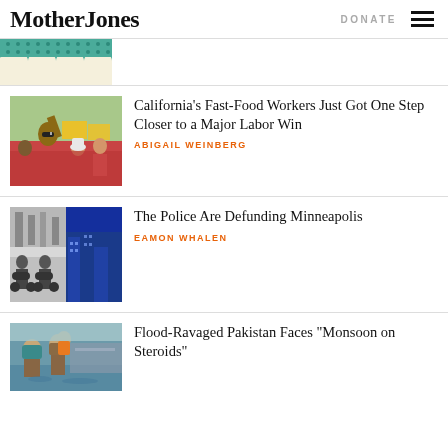Mother Jones | DONATE
[Figure (photo): Partial top of article thumbnail - decorative pattern with teal waves on cream background]
California’s Fast-Food Workers Just Got One Step Closer to a Major Labor Win
ABIGAIL WEINBERG
[Figure (photo): Split image: black-and-white photo of police motorcycles on left, blue-toned city skyline on right]
The Police Are Defunding Minneapolis
EAMON WHALEN
[Figure (photo): Flood scene in Pakistan with people wading through water]
Flood-Ravaged Pakistan Faces “Monsoon on Steroids”